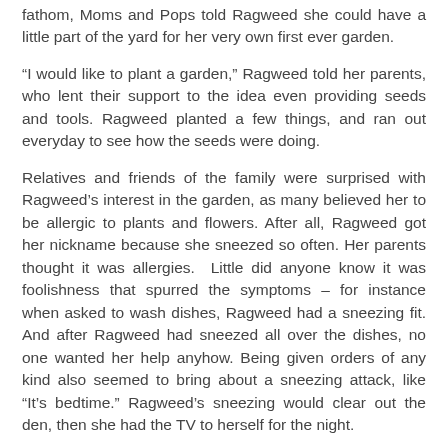fathom, Moms and Pops told Ragweed she could have a little part of the yard for her very own first ever garden.
“I would like to plant a garden,” Ragweed told her parents, who lent their support to the idea even providing seeds and tools. Ragweed planted a few things, and ran out everyday to see how the seeds were doing.
Relatives and friends of the family were surprised with Ragweed’s interest in the garden, as many believed her to be allergic to plants and flowers. After all, Ragweed got her nickname because she sneezed so often. Her parents thought it was allergies.  Little did anyone know it was foolishness that spurred the symptoms – for instance when asked to wash dishes, Ragweed had a sneezing fit. And after Ragweed had sneezed all over the dishes, no one wanted her help anyhow. Being given orders of any kind also seemed to bring about a sneezing attack, like “It’s bedtime.” Ragweed’s sneezing would clear out the den, then she had the TV to herself for the night.
Truth be told, Ragweed loved the outdoors, the smell of the